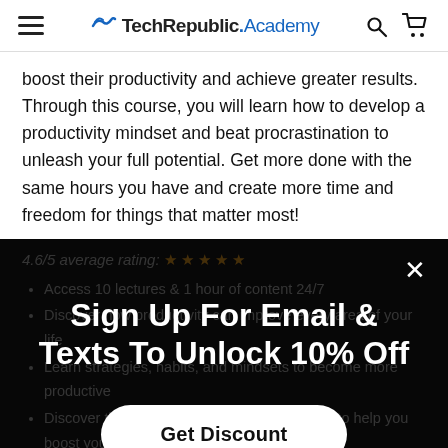TechRepublic.Academy
boost their productivity and achieve greater results. Through this course, you will learn how to develop a productivity mindset and beat procrastination to unleash your full potential. Get more done with the same hours you have and create more time and freedom for things that matter most!
4.6/5 average rating: ★ ★ ★ ★ ★
Access 10 lectures & 1 hour of content 24/7
Discover how productivity can improve every area of your life
Learn strategies, habits, and mindsets to become more productive
Discover the best tools, supplies & resources to help you boost your productivity
[Figure (screenshot): Popup overlay with text 'Sign Up For Email & Texts To Unlock 10% Off' and a 'Get Discount' button, with an X close button in top right]
Get Discount